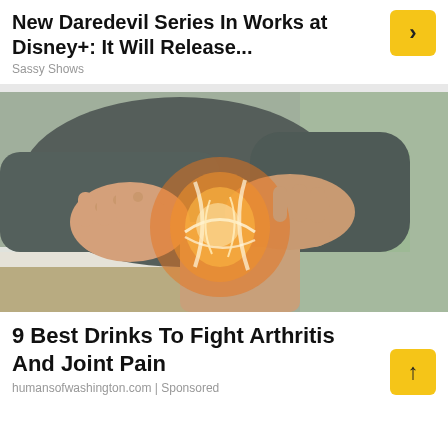New Daredevil Series In Works at Disney+: It Will Release...
Sassy Shows
[Figure (photo): Person sitting and holding their knee, with an X-ray style glowing orange highlight on the knee joint illustrating arthritis or joint pain]
9 Best Drinks To Fight Arthritis And Joint Pain
humansofwashington.com | Sponsored